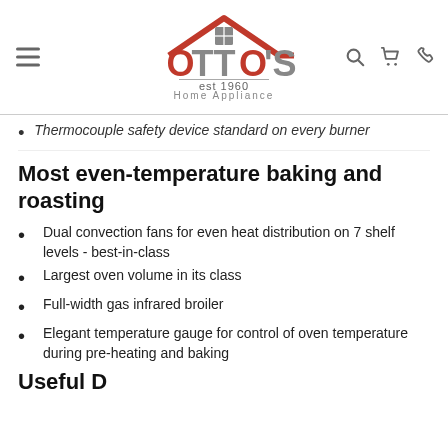Otto's Home Appliance est 1960
Thermocouple safety device standard on every burner
Most even-temperature baking and roasting
Dual convection fans for even heat distribution on 7 shelf levels - best-in-class
Largest oven volume in its class
Full-width gas infrared broiler
Elegant temperature gauge for control of oven temperature during pre-heating and baking
Useful D...